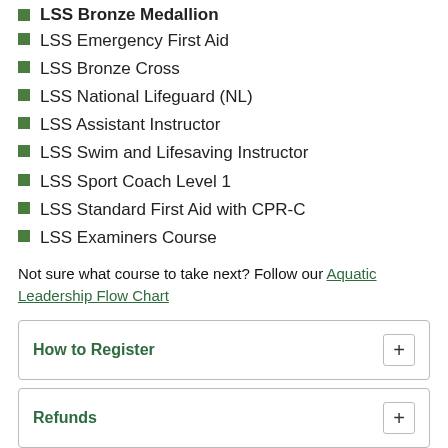LSS Bronze Medalion
LSS Emergency First Aid
LSS Bronze Cross
LSS National Lifeguard (NL)
LSS Assistant Instructor
LSS Swim and Lifesaving Instructor
LSS Sport Coach Level 1
LSS Standard First Aid with CPR-C
LSS Examiners Course
Not sure what course to take next? Follow our Aquatic Leadership Flow Chart
How to Register
Refunds
Join our skilled team of Lifeguards and Swim Instructors!